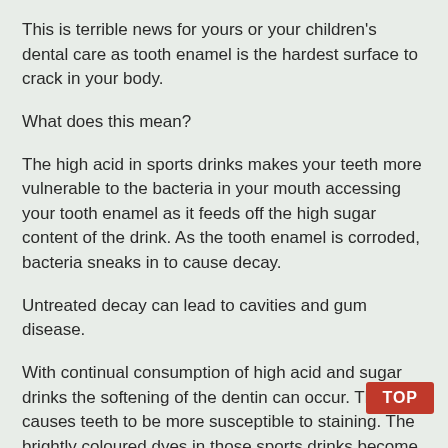This is terrible news for yours or your children's dental care as tooth enamel is the hardest surface to crack in your body.
What does this mean?
The high acid in sports drinks makes your teeth more vulnerable to the bacteria in your mouth accessing your tooth enamel as it feeds off the high sugar content of the drink. As the tooth enamel is corroded, bacteria sneaks in to cause decay.
Untreated decay can lead to cavities and gum disease.
With continual consumption of high acid and sugar drinks the softening of the dentin can occur. This causes teeth to be more susceptible to staining. The brightly coloured dyes in those sports drinks become a problem, and so too does coffee, tea and that good red wine that was opened last night.
Along with staining, the corrosion of tooth enamel can cause